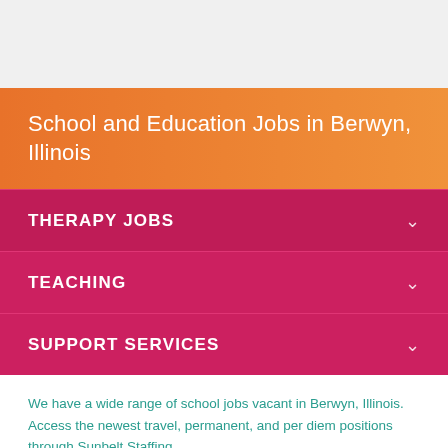School and Education Jobs in Berwyn, Illinois
THERAPY JOBS
TEACHING
SUPPORT SERVICES
We have a wide range of school jobs vacant in Berwyn, Illinois. Access the newest travel, permanent, and per diem positions through Sunbelt Staffing.
Applying for a job with us is quick and easy. You can choose to either